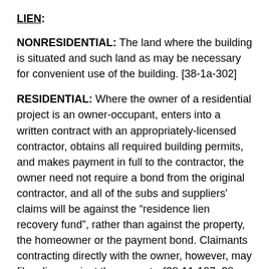LIEN:
NONRESIDENTIAL: The land where the building is situated and such land as may be necessary for convenient use of the building. [38-1a-302]
RESIDENTIAL: Where the owner of a residential project is an owner-occupant, enters into a written contract with an appropriately-licensed contractor, obtains all required building permits, and makes payment in full to the contractor, the owner need not require a bond from the original contractor, and all of the subs and suppliers’ claims will be against the “residence lien recovery fund”, rather than against the property, the homeowner or the payment bond. Claimants contracting directly with the owner, however, may file a lien against the property. [38-11-107, 38-11-204]
NOTE that where the owner, contractor or subcontractor